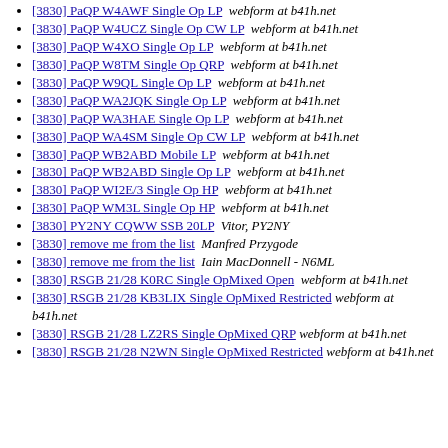[3830] PaQP W4AWF Single Op LP  webform at b41h.net
[3830] PaQP W4UCZ Single Op CW LP  webform at b41h.net
[3830] PaQP W4XO Single Op LP  webform at b41h.net
[3830] PaQP W8TM Single Op QRP  webform at b41h.net
[3830] PaQP W9QL Single Op LP  webform at b41h.net
[3830] PaQP WA2JQK Single Op LP  webform at b41h.net
[3830] PaQP WA3HAE Single Op LP  webform at b41h.net
[3830] PaQP WA4SM Single Op CW LP  webform at b41h.net
[3830] PaQP WB2ABD Mobile LP  webform at b41h.net
[3830] PaQP WB2ABD Single Op LP  webform at b41h.net
[3830] PaQP WI2E/3 Single Op HP  webform at b41h.net
[3830] PaQP WM3L Single Op HP  webform at b41h.net
[3830] PY2NY CQWW SSB 20LP  Vitor, PY2NY
[3830] remove me from the list  Manfred Przygode
[3830] remove me from the list  Iain MacDonnell - N6ML
[3830] RSGB 21/28 K0RC Single OpMixed Open  webform at b41h.net
[3830] RSGB 21/28 KB3LIX Single OpMixed Restricted  webform at b41h.net
[3830] RSGB 21/28 LZ2RS Single OpMixed QRP  webform at b41h.net
[3830] RSGB 21/28 N2WN Single OpMixed Restricted  webform at b41h.net